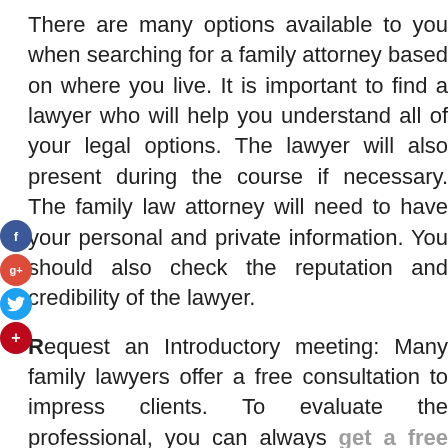There are many options available to you when searching for a family attorney based on where you live. It is important to find a lawyer who will help you understand all of your legal options. The lawyer will also present during the course if necessary. The family law attorney will need to have your personal and private information. You should also check the reputation and credibility of the lawyer.
Request an Introductory meeting: Many family lawyers offer a free consultation to impress clients. To evaluate the professional, you can always get a free consultation. The best